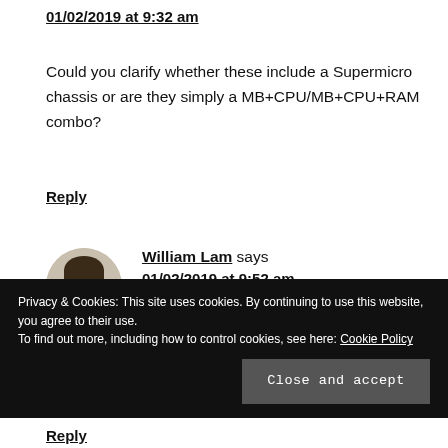01/02/2019 at 9:32 am
Could you clarify whether these include a Supermicro chassis or are they simply a MB+CPU/MB+CPU+RAM combo?
Reply
[Figure (photo): Circular avatar photo of William Lam, a man smiling]
William Lam says 01/02/2019 at 9:52 am
Privacy & Cookies: This site uses cookies. By continuing to use this website, you agree to their use. To find out more, including how to control cookies, see here: Cookie Policy
Close and accept
Reply